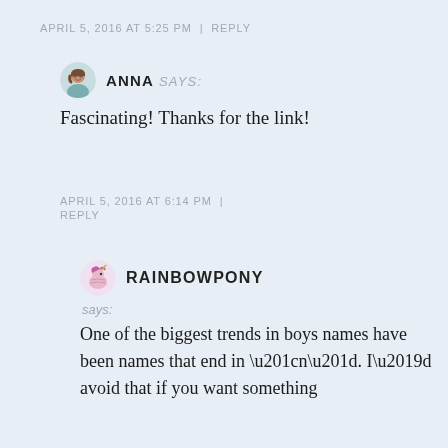APRIL 5, 2016 AT 5:25 PM | REPLY
ANNA says: Fascinating! Thanks for the link!
APRIL 5, 2016 AT 6:14 PM | REPLY
RAINBOWPONY says: One of the biggest trends in boys names have been names that end in “n”. I’d avoid that if you want something